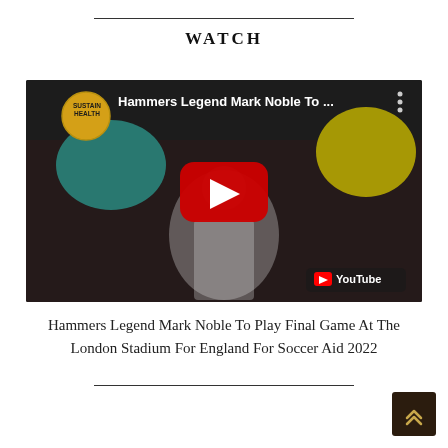WATCH
[Figure (screenshot): YouTube video thumbnail screenshot showing a man in a white England football shirt standing in a stadium. The video is from SustainHealth channel and is titled 'Hammers Legend Mark Noble To ...' with a YouTube play button overlay and the YouTube logo in the bottom right.]
Hammers Legend Mark Noble To Play Final Game At The London Stadium For England For Soccer Aid 2022